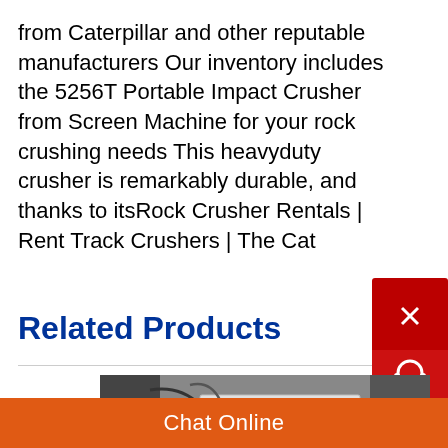from Caterpillar and other reputable manufacturers Our inventory includes the 5256T Portable Impact Crusher from Screen Machine for your rock crushing needs This heavyduty crusher is remarkably durable, and thanks to itsRock Crusher Rentals | Rent Track Crushers | The Cat
Related Products
[Figure (photo): Industrial rock crusher machine, white/grey metal body with blue triangular logo and orange components, shot indoors]
Chat Online